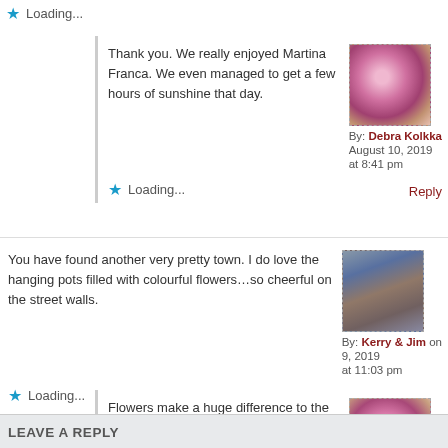Loading...
Thank you. We really enjoyed Martina Franca. We even managed to get a few hours of sunshine that day.
By: Debra Kolkka August 10, 2019 at 8:41 pm
Reply
Loading...
You have found another very pretty town. I do love the hanging pots filled with colourful flowers…so cheerful on the street walls.
By: Kerry & Jim on 9, 2019 at 11:03 pm
Reply
Loading...
Flowers make a huge difference to the atmosphere of a town, I love to see them.
By: Debra Kolkka August 10, 2019 at 8:42 pm
Reply
Loading...
LEAVE A REPLY